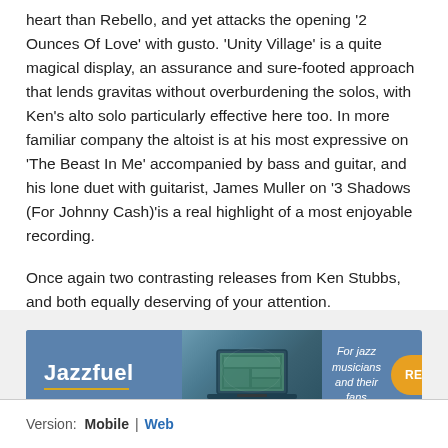heart than Rebello, and yet attacks the opening '2 Ounces Of Love' with gusto. 'Unity Village' is a quite magical display, an assurance and sure-footed approach that lends gravitas without overburdening the solos, with Ken's alto solo particularly effective here too. In more familiar company the altoist is at his most expressive on 'The Beast In Me' accompanied by bass and guitar, and his lone duet with guitarist, James Muller on '3 Shadows (For Johnny Cash)'is a real highlight of a most enjoyable recording.
Once again two contrasting releases from Ken Stubbs, and both equally deserving of your attention.
Reviewed by Nick Lea
[Figure (infographic): Jazzfuel advertisement banner with blue background. Left: Jazzfuel logo text with gold underline. Center: photo of person with laptop. Right: italic text 'For jazz musicians and their fans' and orange READ MORE button with hand pointer icon.]
Version: Mobile | Web